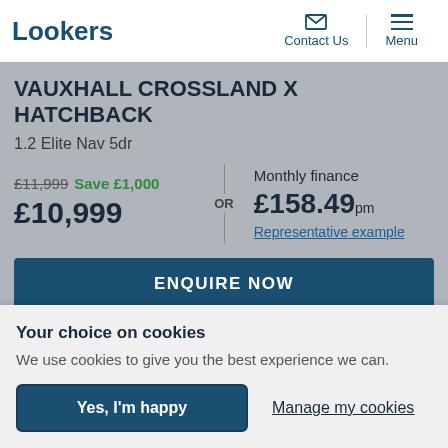Lookers | Contact Us | Menu
VAUXHALL CROSSLAND X HATCHBACK
1.2 Elite Nav 5dr
£11,999 Save £1,000 £10,999 OR Monthly finance £158.49pm Representative example
ENQUIRE NOW
Your choice on cookies
We use cookies to give you the best experience we can.
Yes, I'm happy
Manage my cookies